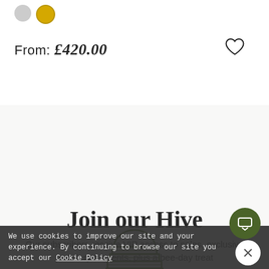[Figure (other): Two circular color swatches: grey and gold/yellow]
From: £420.00
[Figure (other): Heart/wishlist icon outline]
[Figure (illustration): Green line-art beehive/skep icon]
[Figure (illustration): Decorative faint bee illustrations on left and right sides]
Join our Hive
Our subscribers receive VIP access to sales, exclusive jewellery & events, plus a bee-day treat
We use cookies to improve our site and your experience. By continuing to browse our site you accept our Cookie Policy